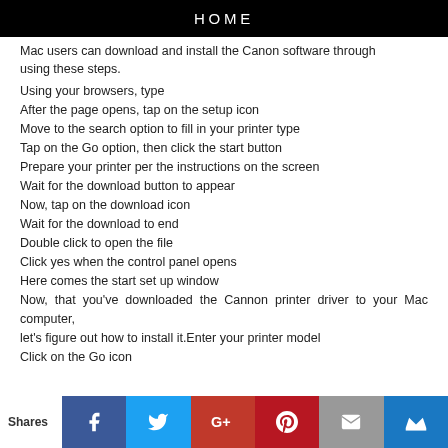HOME
Mac users can download and install the Canon software through using these steps.
Using your browsers, type
After the page opens, tap on the setup icon
Move to the search option to fill in your printer type
Tap on the Go option, then click the start button
Prepare your printer per the instructions on the screen
Wait for the download button to appear
Now, tap on the download icon
Wait for the download to end
Double click to open the file
Click yes when the control panel opens
Here comes the start set up window
Now, that you've downloaded the Cannon printer driver to your Mac computer,
let's figure out how to install it.Enter your printer model
Click on the Go icon
Shares